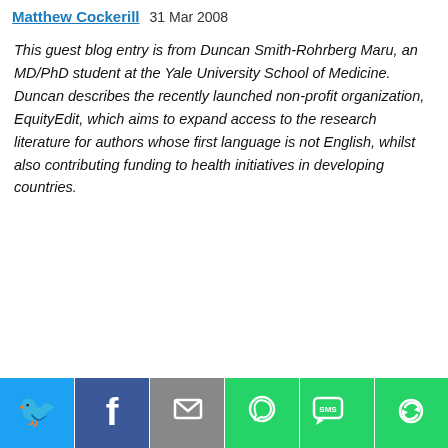Matthew Cockerill  31 Mar 2008
This guest blog entry is from Duncan Smith-Rohrberg Maru, an MD/PhD student at the Yale University School of Medicine. Duncan describes the recently launched non-profit organization, EquityEdit, which aims to expand access to the research literature for authors whose first language is not English, whilst also contributing funding to health initiatives in developing countries.
[Figure (infographic): Social sharing bar with icons for Twitter, Facebook, Email, WhatsApp, SMS, and More]